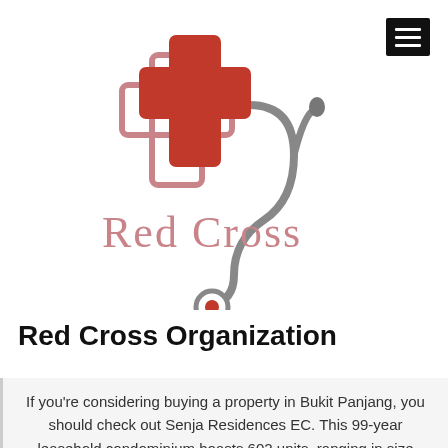[Figure (logo): Red Cross organization logo: a red medical cross overlapping a mauve/pink outlined cross, with a grey stethoscope wrapping around, and 'Red Cross' text in mauve/pink serif font below the cross symbol]
Red Cross Organization
If you're considering buying a property in Bukit Panjang, you should check out Senja Residences EC. This 99-year leasehold condominium boasts 602 units, ranging in size from 753 square feet to 1,540 square feet. City Developments, a large